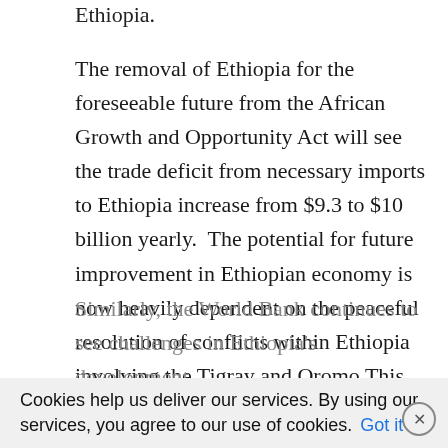Ethiopia.
The removal of Ethiopia for the foreseeable future from the African Growth and Opportunity Act will see the trade deficit from necessary imports to Ethiopia increase from $9.3 to $10 billion yearly.  The potential for future improvement in Ethiopian economy is now heavily dependent on the peaceful resolution of conflicts within Ethiopia involving the Tigray and Oromo This would weigh heavily on investor sentiment and foreign capital inflows, weakening the country's balance-of-payment position.
Similarly, the World Bank continues to see challenges in Ethiopia's development…
Cookies help us deliver our services. By using our services, you agree to our use of cookies. Got it